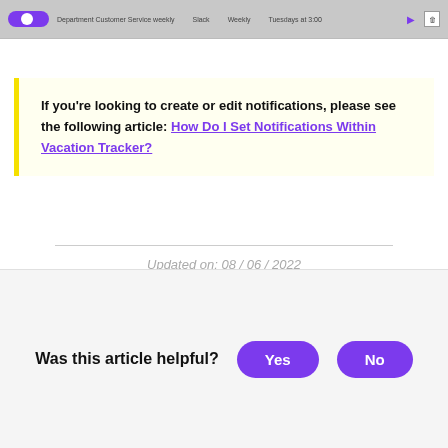[Figure (screenshot): A UI row showing a toggle switch (on/purple), text fields for Department Customer Service weekly, Slack, Weekly, Tuesdays at 3:00, and a play button and trash icon.]
If you're looking to create or edit notifications, please see the following article: How Do I Set Notifications Within Vacation Tracker?
Updated on: 08 / 06 / 2022
Was this article helpful?  Yes  No